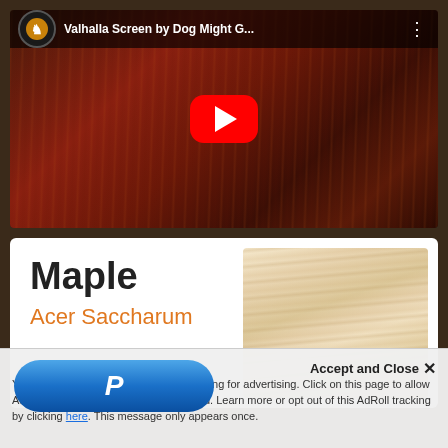[Figure (screenshot): YouTube video thumbnail showing 'Valhalla Screen by Dog Might G...' with a red play button over an image of a dark wooden gaming screen/DM screen with miniatures. YouTube channel logo visible in top left.]
[Figure (screenshot): Wood species info card showing 'Maple' in large bold text, 'Acer Saccharum' in orange italic text below, and a wood grain sample swatch on the right side.]
Accept and Close ×
You... tracking for advertising. Click on this page to allow AdR... ads to you. Learn more or opt out of this AdRoll tracking by clicking here. This message only appears once.